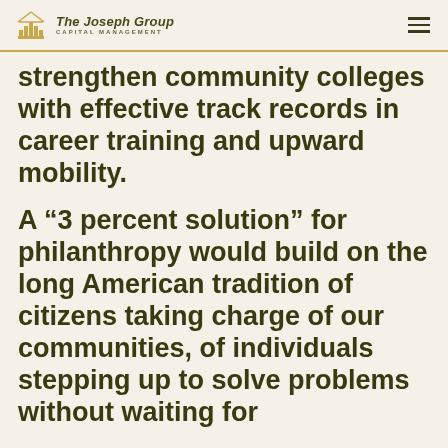The Joseph Group Capital Management
strengthen community colleges with effective track records in career training and upward mobility.
A “3 percent solution” for philanthropy would build on the long American tradition of citizens taking charge of our communities, of individuals stepping up to solve problems without waiting for